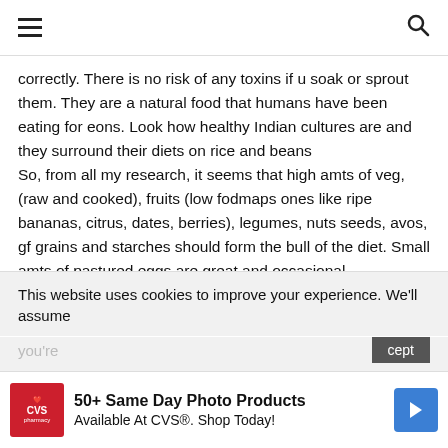≡  🔍
correctly. There is no risk of any toxins if u soak or sprout them. They are a natural food that humans have been eating for eons. Look how healthy Indian cultures are and they surround their diets on rice and beans
So, from all my research, it seems that high amts of veg, (raw and cooked), fruits (low fodmaps ones like ripe bananas, citrus, dates, berries), legumes, nuts seeds, avos, gf grains and starches should form the bull of the diet. Small amts of pastured eggs are great and occasional consumption of sardines, whitefish, salmon are also good options. I don't think dairy and red meat are things that should be consumed and would bhave been hard to come by during caveman timed. It seems like it would be more easy for
This website uses cookies to improve your experience. We'll assume
you're
[Figure (advertisement): CVS Pharmacy advertisement: 50+ Same Day Photo Products Available At CVS®. Shop Today!]